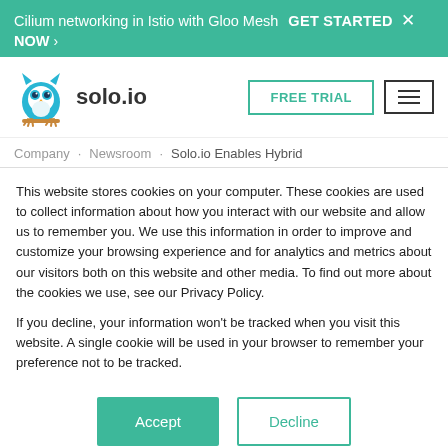Cilium networking in Istio with Gloo Mesh   GET STARTED NOW >   ×
[Figure (logo): solo.io owl logo with text 'solo.io']
FREE TRIAL
≡ (hamburger menu)
Company   Newsroom   Solo.io Enables Hybrid
This website stores cookies on your computer. These cookies are used to collect information about how you interact with our website and allow us to remember you. We use this information in order to improve and customize your browsing experience and for analytics and metrics about our visitors both on this website and other media. To find out more about the cookies we use, see our Privacy Policy.
If you decline, your information won't be tracked when you visit this website. A single cookie will be used in your browser to remember your preference not to be tracked.
Accept
Decline
Amazon Elastic